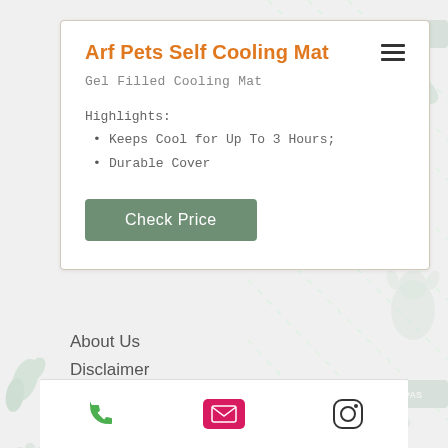Arf Pets Self Cooling Mat
Gel Filled Cooling Mat
Highlights:
Keeps Cool for Up To 3 Hours;
Durable Cover
Check Price
About Us
Disclaimer
Terms and Condition
Privacy
hello@pupsonpassyunk.com
©2018 by pups on passyunk llc